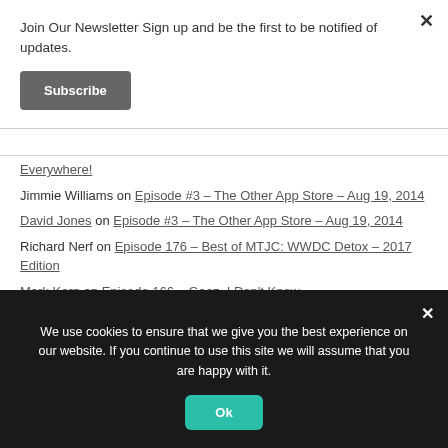Join Our Newsletter Sign up and be the first to be notified of updates.
Subscribe
Everywhere!
Jimmie Williams on Episode #3 – The Other App Store – Aug 19, 2014
David Jones on Episode #3 – The Other App Store – Aug 19, 2014
Richard Nerf on Episode 176 – Best of MTJC: WWDC Detox – 2017 Edition
Mark Karp on Episode 166 – Geez, I Don't Know
Shawn Marston on Episode 144 – Greg Regrets the Error
We use cookies to ensure that we give you the best experience on our website. If you continue to use this site we will assume that you are happy with it.
Ok